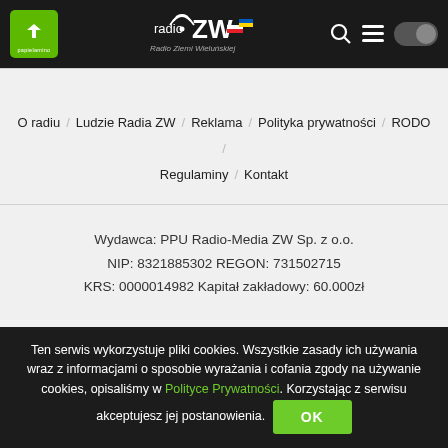Radio ZW - Radio Ziemi Wieluńskiej (header navigation bar with papielamino logo, radioZW logo, search, menu, dark mode toggle)
O radiu / Ludzie Radia ZW / Reklama / Polityka prywatności / RODO / Regulaminy / Kontakt
Wydawca: PPU Radio-Media ZW Sp. z o.o.
NIP: 8321885302 REGON: 731502715
KRS: 0000014982 Kapitał zakładowy: 60.000zł
Ten serwis wykorzystuje pliki cookies. Wszystkie zasady ich używania wraz z informacjami o sposobie wyrażania i cofania zgody na używanie cookies, opisaliśmy w Polityce Prywatności. Korzystając z serwisu akceptujesz jej postanowienia. OK